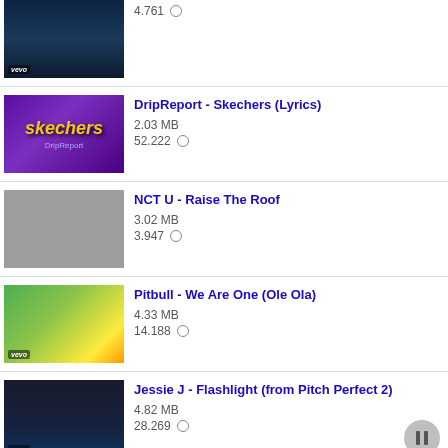4.761 [plays icon] (partial item at top)
DripReport - Skechers (Lyrics)
2.03 MB
52.222
NCT U - Raise The Roof
3.02 MB
3.947
Pitbull - We Are One (Ole Ola)
4.33 MB
14.188
Jessie J - Flashlight (from Pitch Perfect 2)
4.82 MB
28.269